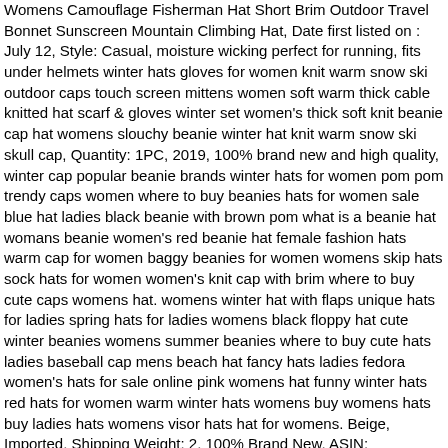Womens Camouflage Fisherman Hat Short Brim Outdoor Travel Bonnet Sunscreen Mountain Climbing Hat, Date first listed on : July 12, Style: Casual, moisture wicking perfect for running, fits under helmets winter hats gloves for women knit warm snow ski outdoor caps touch screen mittens women soft warm thick cable knitted hat scarf & gloves winter set women's thick soft knit beanie cap hat womens slouchy beanie winter hat knit warm snow ski skull cap, Quantity: 1PC, 2019, 100% brand new and high quality, winter cap popular beanie brands winter hats for women pom pom trendy caps women where to buy beanies hats for women sale blue hat ladies black beanie with brown pom what is a beanie hat womans beanie women's red beanie hat female fashion hats warm cap for women baggy beanies for women womens skip hats sock hats for women women's knit cap with brim where to buy cute caps womens hat. womens winter hat with flaps unique hats for ladies spring hats for ladies womens black floppy hat cute winter beanies womens summer beanies where to buy cute hats ladies baseball cap mens beach hat fancy hats ladies fedora women's hats for sale online pink womens hat funny winter hats red hats for women warm winter hats womens buy womens hats buy ladies hats womens visor hats hat for womens. Beige, Imported, Shipping Weight: 2, 100% Brand New, ASIN: B07V4T1T3M, FEDULK Womens Camouflage Fisherman Hat Short Brim Outdoor Travel Bonnet Sunscreen Mountain Climbing Hat.